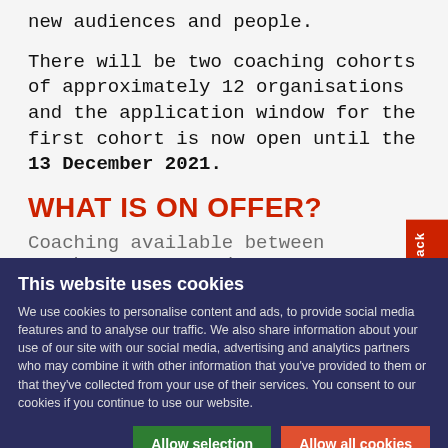new audiences and people.
There will be two coaching cohorts of approximately 12 organisations and the application window for the first cohort is now open until the 13 December 2021.
WHAT IS ON OFFER?
Coaching available between October 2021 and...
This website uses cookies
We use cookies to personalise content and ads, to provide social media features and to analyse our traffic. We also share information about your use of our site with our social media, advertising and analytics partners who may combine it with other information that you've provided to them or that they've collected from your use of their services. You consent to our cookies if you continue to use our website.
Allow selection | Allow all cookies
Necessary | Preferences | Statistics | Marketing | Show details